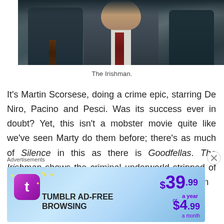[Figure (photo): Film still from The Irishman showing men in suits, centered figure wearing a dark suit with red tie and white shirt, flanked by others in dark suits]
The Irishman.
It's Martin Scorsese, doing a crime epic, starring De Niro, Pacino and Pesci. Was its success ever in doubt? Yet, this isn't a mobster movie quite like we've seen Marty do them before; there's as much of Silence in this as there is Goodfellas. The Irishman shows the criminal underworld stripped of its perceived glamour, chronicling the life of hitman
Advertisements
[Figure (illustration): Tumblr Ad-Free Browsing advertisement banner. Price: $39.99 a year or $4.99 a month. Pink and blue gradient background with Tumblr logo and star decorations.]